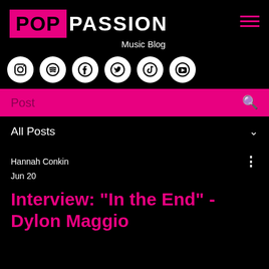[Figure (logo): Pop Passion Music Blog logo with pink POP box and white PASSION text, hamburger menu icon]
[Figure (infographic): Row of social media icons: Instagram, Spotify, Facebook, Twitter, TikTok, YouTube - white circles on black background]
Post
All Posts
Hannah Conkin
Jun 20
Interview: "In the End" - Dylon Maggio